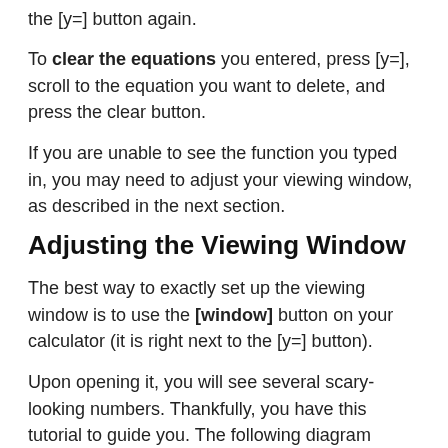the [y=] button again.
To clear the equations you entered, press [y=], scroll to the equation you want to delete, and press the clear button.
If you are unable to see the function you typed in, you may need to adjust your viewing window, as described in the next section.
Adjusting the Viewing Window
The best way to exactly set up the viewing window is to use the [window] button on your calculator (it is right next to the [y=] button).
Upon opening it, you will see several scary-looking numbers. Thankfully, you have this tutorial to guide you. The following diagram should help you understand exactly what these numbers mean: